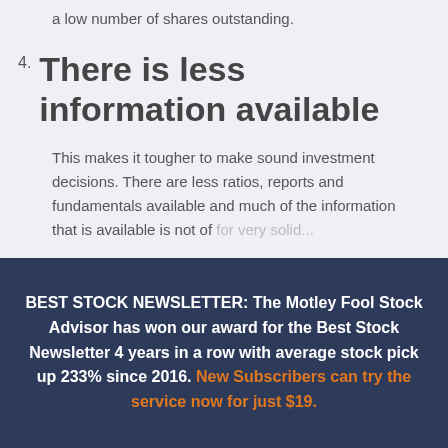a low number of shares outstanding.
4. There is less information available
This makes it tougher to make sound investment decisions. There are less ratios, reports and fundamentals available and much of the information that is available is not of very solid...
BEST STOCK NEWSLETTER: The Motley Fool Stock Advisor has won our award for the Best Stock Newsletter 4 years in a row with average stock pick up 233% since 2016. New Subscribers can try the service now for just $19.